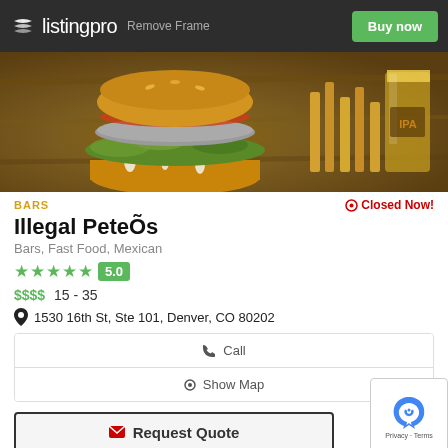listingpro  Remove Frame  Buy now
[Figure (photo): Food photo showing a large burger with lettuce, tomato, and sauce on a wooden board, with french fries and a glass of beer in the background]
BARS
Closed Now!
Illegal PeteÕs
Bars, Fast Food, Mexican
★★★★★  5.0
$$$$  15 - 35
1530 16th St, Ste 101, Denver, CO 80202
Call
Show Map
Request Quote